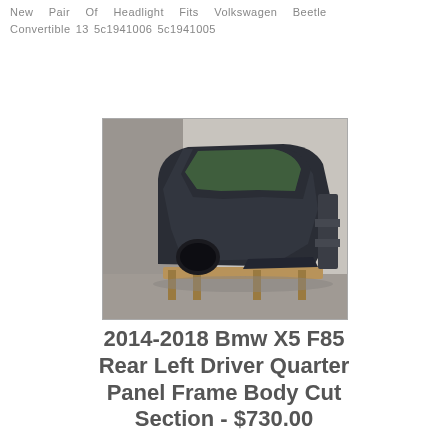New Pair Of Headlight Fits Volkswagen Beetle Convertible 13 5c1941006 5c1941005
[Figure (photo): A rear left quarter panel frame body cut section from a 2014-2018 BMW X5 F85, shown sitting on a wooden pallet on a concrete surface.]
2014-2018 Bmw X5 F85 Rear Left Driver Quarter Panel Frame Body Cut Section - $730.00